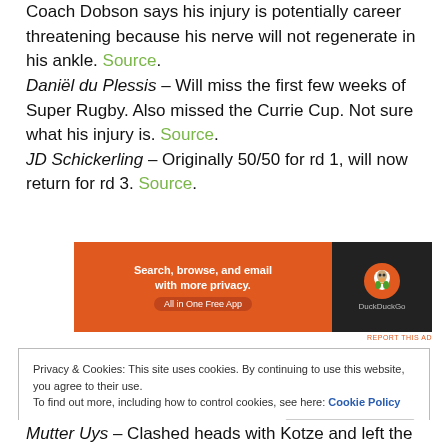Coach Dobson says his injury is potentially career threatening because his nerve will not regenerate in his ankle. Source.
Daniël du Plessis – Will miss the first few weeks of Super Rugby. Also missed the Currie Cup. Not sure what his injury is. Source.
JD Schickerling – Originally 50/50 for rd 1, will now return for rd 3. Source.
[Figure (other): DuckDuckGo advertisement banner: Search, browse, and email with more privacy. All in One Free App.]
REPORT THIS AD
Privacy & Cookies: This site uses cookies. By continuing to use this website, you agree to their use. To find out more, including how to control cookies, see here: Cookie Policy
Close and accept
Matter Uys – Clashed heads with Kotze and left the